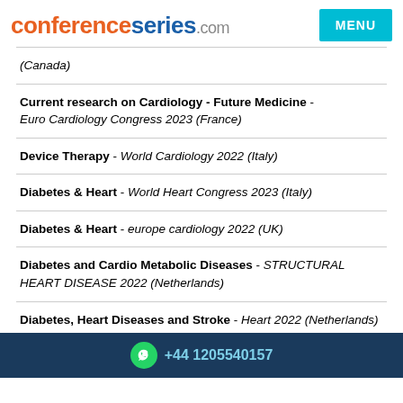conferenceseries.com | MENU
(Canada)
Current research on Cardiology - Future Medicine - Euro Cardiology Congress 2023 (France)
Device Therapy - World Cardiology 2022 (Italy)
Diabetes & Heart - World Heart Congress 2023 (Italy)
Diabetes & Heart - europe cardiology 2022 (UK)
Diabetes and Cardio Metabolic Diseases - STRUCTURAL HEART DISEASE 2022 (Netherlands)
Diabetes, Heart Diseases and Stroke - Heart 2022 (Netherlands)
+44 1205540157